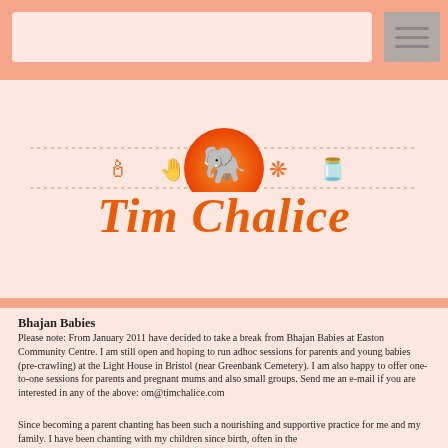[Navigation bar with search box and hamburger menu]
[Figure (illustration): Decorative horizontal icon row with dashed lines and spiritual/yoga icons (cross/candle, hamsa hand, Ganesha in orange circle, lotus/snowflake, bowl/lamp icons) above the main title]
Tim Chalice
Bhajan Babies
Please note: From January 2011 have decided to take a break from Bhajan Babies at Easton Community Centre. I am still open and hoping to run adhoc sessions for parents and young babies (pre-crawling) at the Light House in Bristol (near Greenbank Cemetery). I am also happy to offer one-to-one sessions for parents and pregnant mums and also small groups. Send me an e-mail if you are interested in any of the above: om@timchalice.com
Since becoming a parent chanting has been such a nourishing and supportive practice for me and my family. I have been chanting with my children since birth, often in the ...